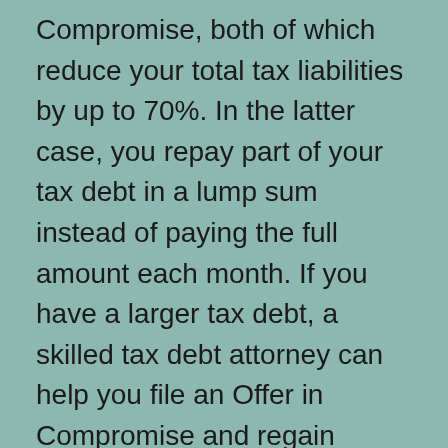Compromise, both of which reduce your total tax liabilities by up to 70%. In the latter case, you repay part of your tax debt in a lump sum instead of paying the full amount each month. If you have a larger tax debt, a skilled tax debt attorney can help you file an Offer in Compromise and regain Currently Not Collectible status.
There are several ways to find the right tax debt attorney. Check out company websites. Today, most companies recognize the power of the internet and advertise themselves online. You...